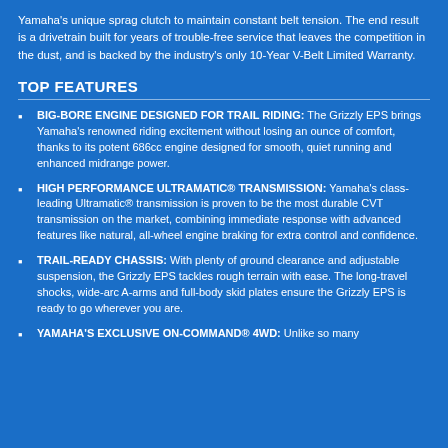Yamaha's unique sprag clutch to maintain constant belt tension. The end result is a drivetrain built for years of trouble-free service that leaves the competition in the dust, and is backed by the industry's only 10-Year V-Belt Limited Warranty.
TOP FEATURES
BIG-BORE ENGINE DESIGNED FOR TRAIL RIDING: The Grizzly EPS brings Yamaha's renowned riding excitement without losing an ounce of comfort, thanks to its potent 686cc engine designed for smooth, quiet running and enhanced midrange power.
HIGH PERFORMANCE ULTRAMATIC® TRANSMISSION: Yamaha's class-leading Ultramatic® transmission is proven to be the most durable CVT transmission on the market, combining immediate response with advanced features like natural, all-wheel engine braking for extra control and confidence.
TRAIL-READY CHASSIS: With plenty of ground clearance and adjustable suspension, the Grizzly EPS tackles rough terrain with ease. The long-travel shocks, wide-arc A-arms and full-body skid plates ensure the Grizzly EPS is ready to go wherever you are.
YAMAHA'S EXCLUSIVE ON-COMMAND® 4WD: Unlike so many